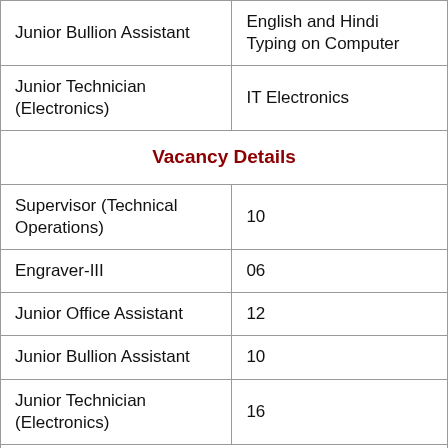| Position | Detail |
| --- | --- |
| Junior Bullion Assistant | English and Hindi Typing on Computer |
| Junior Technician (Electronics) | IT Electronics |
| Vacancy Details |  |
| Supervisor (Technical Operations) | 10 |
| Engraver-III | 06 |
| Junior Office Assistant | 12 |
| Junior Bullion Assistant | 10 |
| Junior Technician (Electronics) | 16 |
| Application Fee |  |